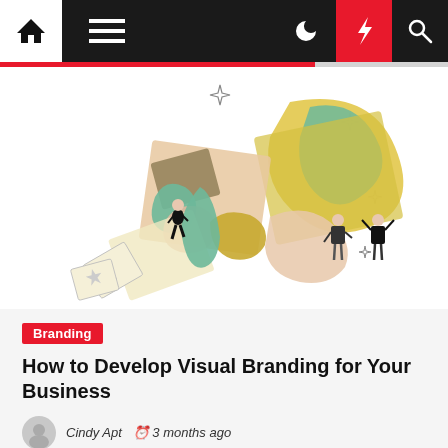Navigation bar with home, menu, dark mode, lightning, and search icons
[Figure (illustration): Colorful abstract illustration with overlapping geometric and organic shapes in yellow, green, peach, and brown tones, with small illustrated figures of people interacting with large design elements. Sparkle/diamond decorative shapes scattered around.]
Branding
How to Develop Visual Branding for Your Business
Cindy Apt  3 months ago